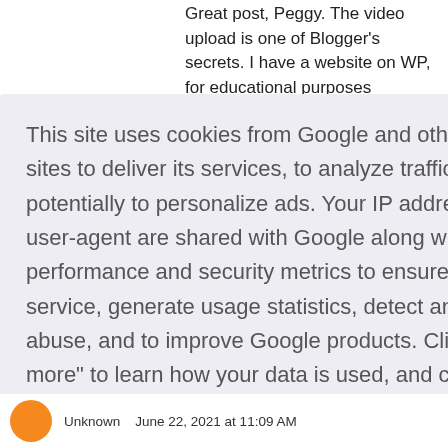Great post, Peggy. The video upload is one of Blogger's secrets. I have a website on WP, for educational purposes (Geography), but I intend to
This site uses cookies from Google and other 3rd party sites to deliver its services, to analyze traffic, and potentially to personalize ads. Your IP address and user-agent are shared with Google along with performance and security metrics to ensure quality of service, generate usage statistics, detect and address abuse, and to improve Google products. Click "Learn more" to learn how your data is used, and change your cookie and privacy settings. By using this site, you agree to its use of cookies and other data.
Learn more
Got it!
Unknown   June 22, 2021 at 11:09 AM